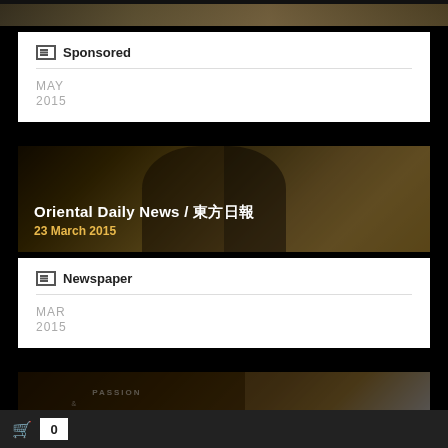[Figure (photo): Top cropped photo strip (partially visible at top of page)]
Sponsored
MAY 2015
[Figure (photo): Oriental Daily News / 東方日報 article photo showing a woman in a bag store, 23 March 2015]
Oriental Daily News / 東方日報
23 March 2015
Newspaper
MAR 2015
[Figure (photo): MAWN Passion & Commitment nreneurs Excellent 2014 article photo]
MAWN Passion & Commitment
nreneurs Excellent 2014